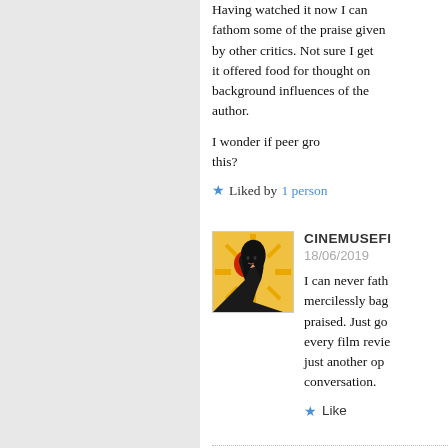Having watched it now I can fathom some of the praise given by other critics. Not sure I get it offered food for thought on background influences of the author.

I wonder if peer group influences this?
Liked by 1 person
CINEMUSEFI
18/06/2019
[Figure (illustration): Avatar image of a stylized illustration of a woman with long black hair against a red sun and yellow rays background]
I can never fath mercilessly bag praised. Just go every film revie just another op conversation.
Like